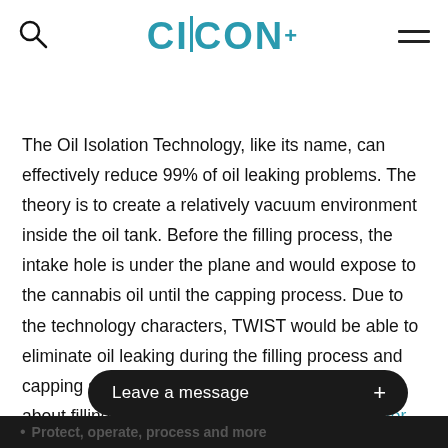CIICON+
The Oil Isolation Technology, like its name, can effectively reduce 99% of oil leaking problems. The theory is to create a relatively vacuum environment inside the oil tank. Before the filling process, the intake hole is under the plane and would expose to the cannabis oil until the capping process. Due to the technology characters, TWIST would be able to eliminate oil leaking during the filling process and capping stage.  if you want to know more details about filling oil,kindly refer to our download center.
Leave a message  +
Protect, operate, process and more